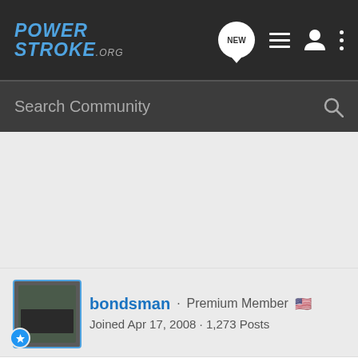PowerStroke.org - Search Community
[Figure (screenshot): PowerStroke.org forum website navigation bar with logo, new message bubble, list icon, user icon, and three-dot menu icon]
bondsman · Premium Member 🇺🇸
Joined Apr 17, 2008 · 1,273 Posts
#9 · Aug 7, 2011
Here is a capture from a data...